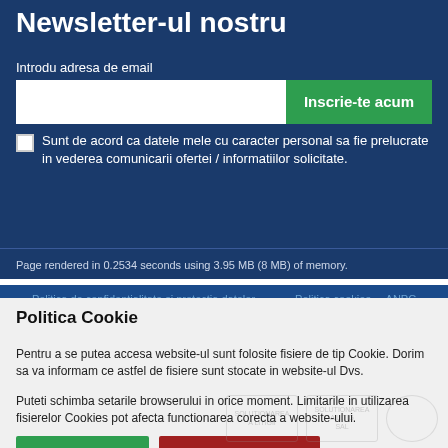Newsletter-ul nostru
Introdu adresa de email
Inscrie-te acum
Sunt de acord ca datele mele cu caracter personal sa fie prelucrate in vederea comunicarii ofertei / informatiilor solicitate.
Page rendered in 0.2534 seconds using 3.95 MB (8 MB) of memory.
Politica de confidentialitate si protectia datelor
Politica cookies     ANPC
Politica Cookie
Pentru a se putea accesa website-ul sunt folosite fisiere de tip Cookie. Dorim sa va informam ce astfel de fisiere sunt stocate in website-ul Dvs.
Puteti schimba setarile browserului in orice moment. Limitarile in utilizarea fisierelor Cookies pot afecta functionarea corecta a website-ului.
Sunt de acord
Dissallow cookies